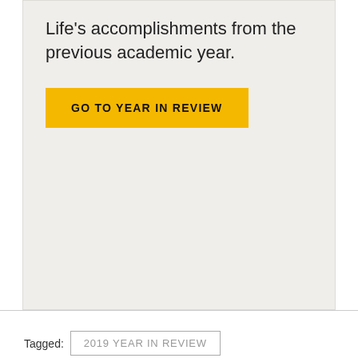Life's accomplishments from the previous academic year.
GO TO YEAR IN REVIEW
Tagged: 2019 YEAR IN REVIEW
RECENT POSTS
Iowa releases Alcohol Sales Pilot Evaluation Report